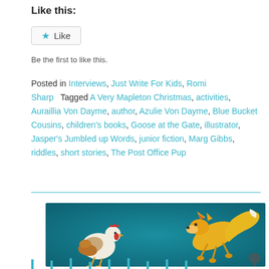Like this:
★ Like
Be the first to like this.
Posted in Interviews, Just Write For Kids, Romi Sharp   Tagged A Very Mapleton Christmas, activities, Auraillia Von Dayme, author, Azulie Von Dayme, Blue Bucket Cousins, children's books, Goose at the Gate, illustrator, Jasper's Jumbled up Words, junior fiction, Marg Gibbs, riddles, short stories, The Post Office Pup
[Figure (illustration): Illustration on teal background showing a chicken (white and brown) on the left and a leaping fox (orange/yellow) on the right, both in mid-motion suggesting a chase scene.]